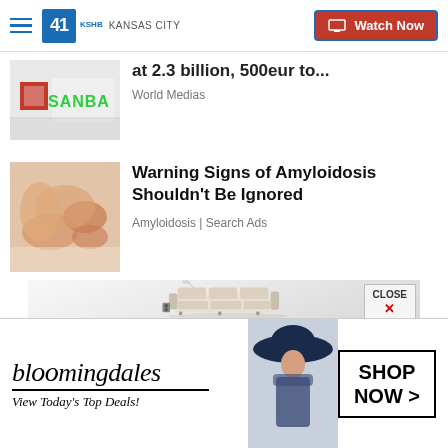41 KSHB KANSAS CITY | Watch Now
at 2.3 billion, 500eur to...
World Medias
Warning Signs of Amyloidosis Shouldn't Be Ignored
Amyloidosis | Search Ads
[Figure (photo): Furniture/sofa advertisement image with a modern recliner sofa set against a light background. Close button in top-right corner.]
[Figure (advertisement): Bloomingdales banner ad: logo, 'View Today's Top Deals!', model in hat, SHOP NOW button]